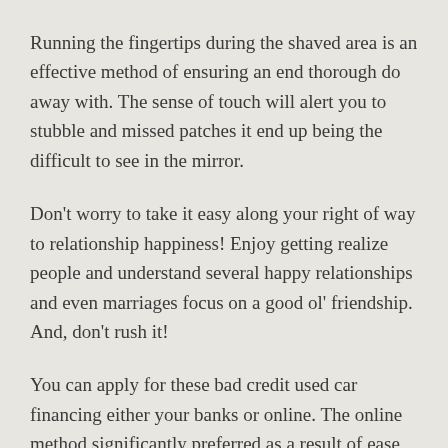Running the fingertips during the shaved area is an effective method of ensuring an end thorough do away with. The sense of touch will alert you to stubble and missed patches it end up being the difficult to see in the mirror.
Don't worry to take it easy along your right of way to relationship happiness! Enjoy getting realize people and understand several happy relationships and even marriages focus on a good ol' friendship. And, don't rush it!
You can apply for these bad credit used car financing either your banks or online. The online method significantly preferred as a result of ease of operation. Search for about the terms and types of conditions from the banking website itself and definitely will proceed if